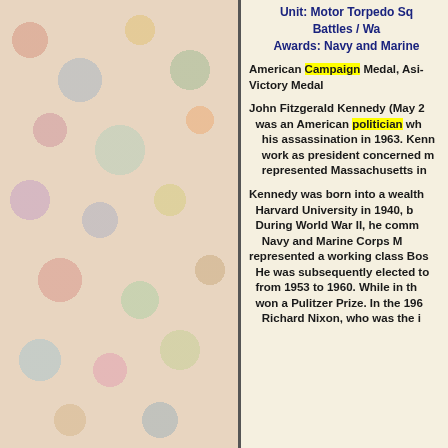[Figure (photo): Left half of the page showing a collage/mosaic of colorful stickers, cards, and miscellaneous items as a background image]
Unit: Motor Torpedo Sq
Battles / Wa
Awards: Navy and Marine
American Campaign Medal, Asi-
Victory Medal
John Fitzgerald Kennedy (May 2
was an American politician wh
his assassination in 1963. Kenn
work as president concerned m
represented Massachusetts in
Kennedy was born into a wealth
Harvard University in 1940, b
During World War II, he comm
Navy and Marine Corps M
represented a working class Bos
He was subsequently elected to
from 1953 to 1960. While in th
won a Pulitzer Prize. In the 196
Richard Nixon, who was the i